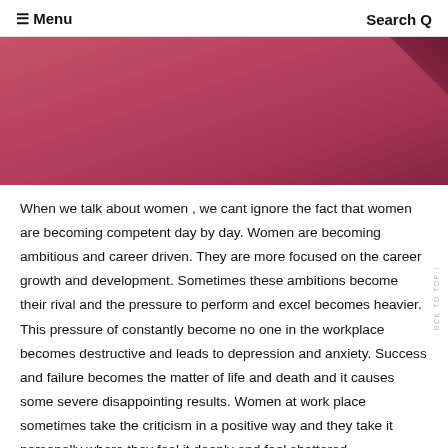≡ Menu    Search Q
[Figure (photo): Pink/rose colored textured background with a dark triangular fold in the top right corner]
When we talk about women , we cant ignore the fact that women are becoming competent day by day. Women are becoming ambitious and career driven. They are more focused on the career growth and development. Sometimes these ambitions become their rival and the pressure to perform and excel becomes heavier. This pressure of constantly become no one in the workplace becomes destructive and leads to depression and anxiety. Success and failure becomes the matter of life and death and it causes some severe disappointing results. Women at work place sometimes take the criticism in a positive way and they take it personally where they feel it deeply and feel shattered.